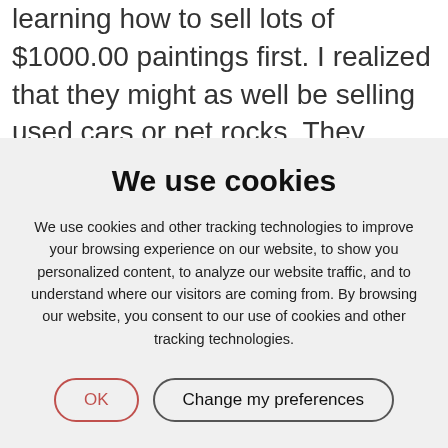learning how to sell lots of $1000.00 paintings first. I realized that they might as well be selling used cars or pet rocks. They could care less about what they sold as long as they sold it.
"They handled the art carelessly and with little
We use cookies
We use cookies and other tracking technologies to improve your browsing experience on our website, to show you personalized content, to analyze our website traffic, and to understand where our visitors are coming from. By browsing our website, you consent to our use of cookies and other tracking technologies.
OK | Change my preferences